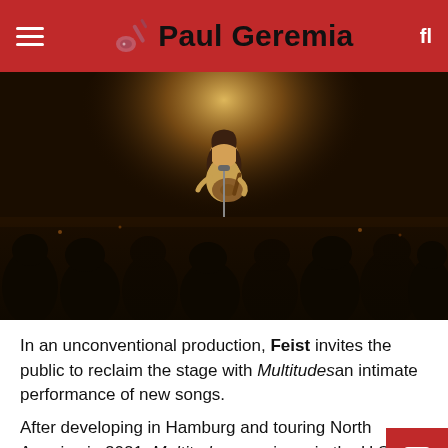Paul Geremia
[Figure (photo): A musician playing acoustic guitar on stage under a spotlight, with a silhouetted audience in the foreground. Warm golden stage lighting.]
In an unconventional production, Feist invites the public to reclaim the stage with Multitudes an intimate performance of new songs.
After developing in Hamburg and touring North America in 2021, Multitudes premieres in the United States in April and May with limited-capacity